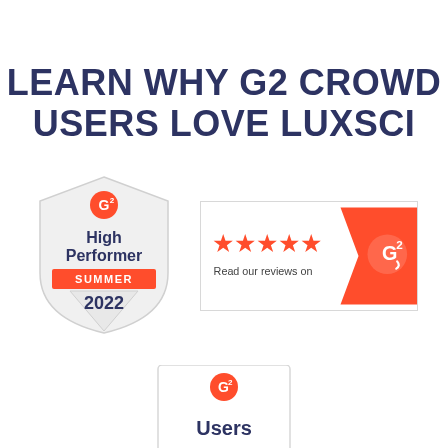LEARN WHY G2 CROWD USERS LOVE LUXSCI
[Figure (logo): G2 Crowd 'High Performer' badge for Summer 2022 — shield shape with G2 logo at top, 'High Performer' text, orange 'SUMMER' banner, and '2022' at bottom]
[Figure (logo): G2 Crowd review badge — rectangular with white left section showing 5 orange stars and 'Read our reviews on' text, red right chevron section with G2 logo]
[Figure (logo): G2 Crowd badge — square card with G2 logo at top and 'Users' text, partially visible at bottom of page]